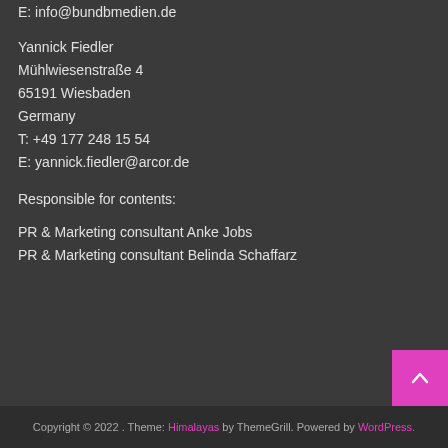E: info@bundbmedien.de
Yannick Fiedler
Mühlwiesenstraße 4
65191 Wiesbaden
Germany
T: +49 177 248 15 54
E: yannick.fiedler@arcor.de
Responsible for contents:
PR & Marketing consultant Anke Jobs
PR & Marketing consultant Belinda Schaffarz
Copyright © 2022 . Theme: Himalayas by ThemeGrill. Powered by WordPress.